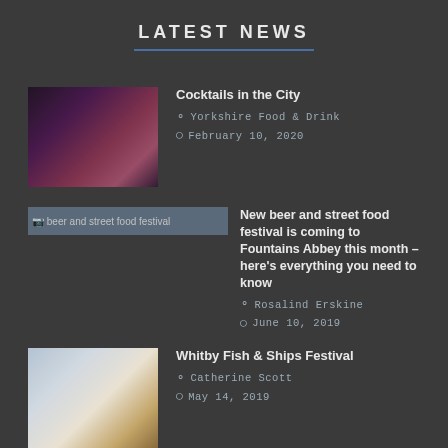LATEST NEWS
[Figure (photo): Cocktail bar scene with people]
Cocktails in the City
Yorkshire Food & Drink
February 10, 2020
[Figure (photo): beer and street food festival (broken image)]
New beer and street food festival is coming to Fountains Abbey this month – here's everything you need to know
Rosalind Erskine
June 10, 2019
[Figure (photo): Whitby Fish & Ships Festival chef cooking]
Whitby Fish & Ships Festival
Catherine Scott
May 14, 2019